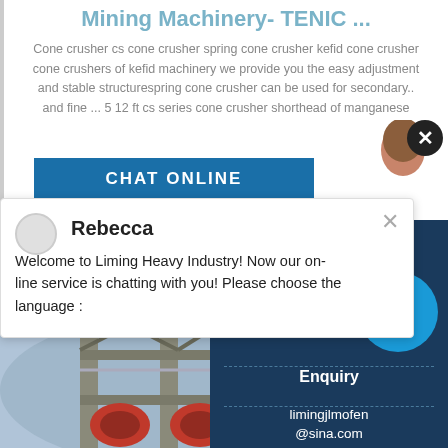Cone Crusher Manufacturer Of Mining Machinery- TENIC ...
Cone crusher cs cone crusher spring cone crusher kefid cone crusher cone crushers of kefid machinery we provide you the easy adjustment and stable structurespring cone crusher can be used for secondary.. and fine ... 5 12 ft cs series cone crusher shorthead of manganese
CHAT ONLINE
Rebecca
Welcome to Liming Heavy Industry! Now our on-line service is chatting with you! Please choose the language :
[Figure (photo): Industrial mining/processing machinery building with steel framework structure, multiple floors visible]
Have any requests, click here
Que
1
Enquiry
limingjlmofen@sina.com